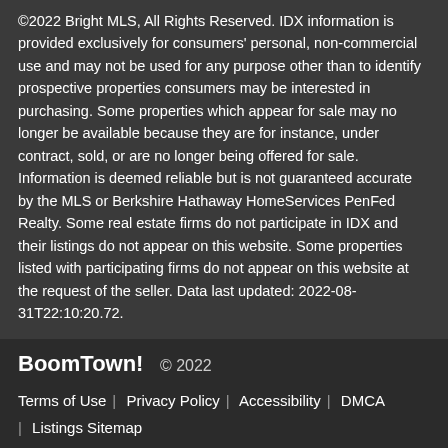©2022 Bright MLS, All Rights Reserved. IDX information is provided exclusively for consumers' personal, non-commercial use and may not be used for any purpose other than to identify prospective properties consumers may be interested in purchasing. Some properties which appear for sale may no longer be available because they are for instance, under contract, sold, or are no longer being offered for sale. Information is deemed reliable but is not guaranteed accurate by the MLS or Berkshire Hathaway HomeServices PenFed Realty. Some real estate firms do not participate in IDX and their listings do not appear on this website. Some properties listed with participating firms do not appear on this website at the request of the seller. Data last updated: 2022-08-31T22:10:20.72.
BoomTown! © 2022 | Terms of Use | Privacy Policy | Accessibility | DMCA | Listings Sitemap
Take a Tour
Ask A Question